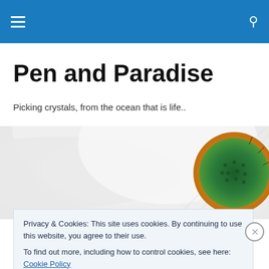Navigation bar with hamburger menu and search icon
Pen and Paradise
Picking crystals, from the ocean that is life..
[Figure (photo): Close-up macro photo of a white daisy flower with a green and yellow center, petals stretching to the left]
Got yourself clicked at the
Privacy & Cookies: This site uses cookies. By continuing to use this website, you agree to their use.
To find out more, including how to control cookies, see here: Cookie Policy
Close and accept